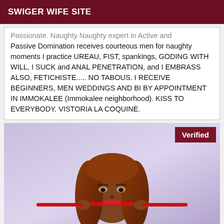SWIGER WIFE SITE
Passionate. Naughty Naughty expert in Active and Passive Domination receives courteous men for naughty moments I practice UREAU, FIST, spankings, GODING WITH WILL, I SUCK and ANAL PENETRATION, and I EMBRASS ALSO, FETICHISTE..... NO TABOUS. I RECEIVE BEGINNERS, MEN WEDDINGS AND BI BY APPOINTMENT IN IMMOKALEE (Immokalee neighborhood). KISS TO EVERYBODY. VISTORIA LA COQUINE.
[Figure (photo): Woman with reddish-brown hair holding a red strap in her mouth, with a Verified badge overlay in the top-right corner.]